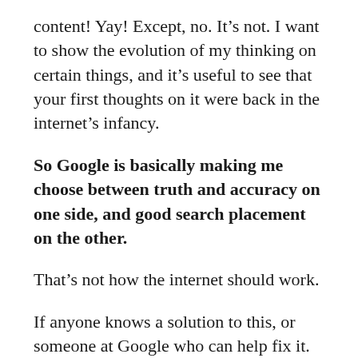content! Yay! Except, no. It’s not. I want to show the evolution of my thinking on certain things, and it’s useful to see that your first thoughts on it were back in the internet’s infancy.
So Google is basically making me choose between truth and accuracy on one side, and good search placement on the other.
That’s not how the internet should work.
If anyone knows a solution to this, or someone at Google who can help fix it. Please let me know.